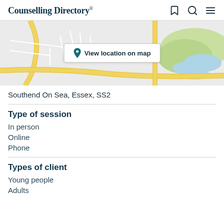Counselling Directory
[Figure (map): A street map showing roads and green areas with a 'View location on map' button overlay]
Southend On Sea, Essex, SS2
Type of session
In person
Online
Phone
Types of client
Young people
Adults